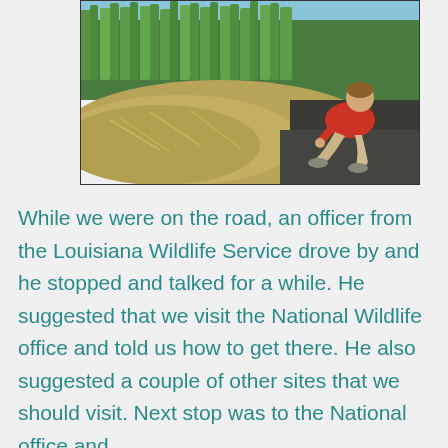[Figure (photo): A person in a red shirt crouching down near marsh grass and water, examining something on the ground by a road or path. Wetland/marsh environment with tall green grasses and water in the background.]
While we were on the road, an officer from the Louisiana Wildlife Service drove by and he stopped and talked for a while.  He suggested that we visit the National Wildlife office and told us how to get there.  He also suggested a couple of other sites that we should visit.  Next stop was to the National office and ...